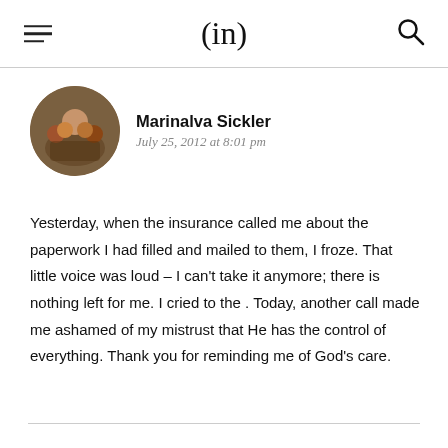(in)
[Figure (photo): Circular avatar photo of Marinalva Sickler with a group of children]
Marinalva Sickler
July 25, 2012 at 8:01 pm
Yesterday, when the insurance called me about the paperwork I had filled and mailed to them, I froze. That little voice was loud – I can't take it anymore; there is nothing left for me. I cried to the . Today, another call made me ashamed of my mistrust that He has the control of everything. Thank you for reminding me of God's care.